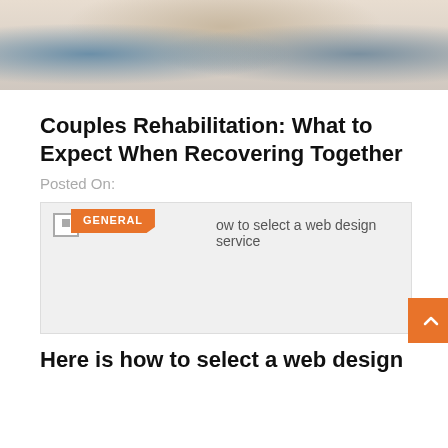[Figure (photo): Top portion of a group therapy or rehabilitation session photo showing people seated together]
Couples Rehabilitation: What to Expect When Recovering Together
Posted On:
[Figure (screenshot): Card with broken image icon, orange GENERAL badge, and text 'how to select a web design service']
Here is how to select a web design